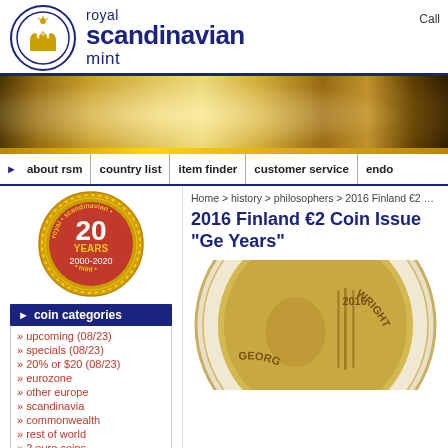[Figure (logo): Royal Scandinavian Mint logo with crown in circle]
royal scandinavian mint
Call
[Figure (photo): Gold coins banner image]
about rsm | country list | item finder | customer service | endo
[Figure (logo): Royal Scandinavian Mint 20 Years 2000-2020 badge]
Home > history > philosophers > 2016 Finland €2 Coin Issu
2016 Finland €2 Coin Issue "Ge Years"
coin categories
» upcoming (08/23)
» specials (08/23)
» 20% or $20 (08/23)
» eurozone
» other europe
» scandinavia
» commonwealth
» rest of world
» 2 euro coins
» eurostar issues
[Figure (photo): 2016 Finland €2 coin showing Georg Henrik Wright portrait and inscription]